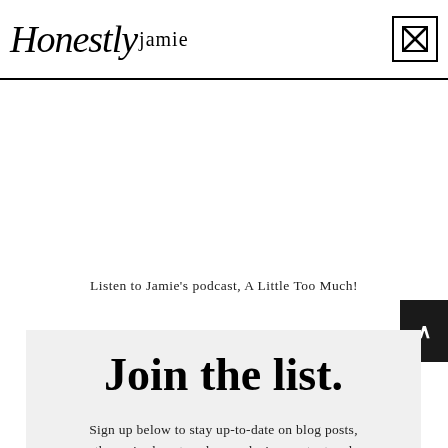Honestly Jamie
Listen to Jamie's podcast, A Little Too Much!
Join the list.
Sign up below to stay up-to-date on blog posts, the major beauty sales, exclusive content and